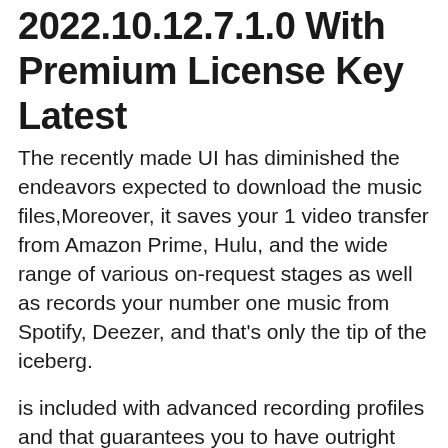2022.10.12.7.1.0 With Premium License Key Latest
The recently made UI has diminished the endeavors expected to download the music files,Moreover, it saves your 1 video transfer from Amazon Prime, Hulu, and the wide range of various on-request stages as well as records your number one music from Spotify, Deezer, and that's only the tip of the iceberg.
is included with advanced recording profiles and that guarantees you to have outright awesome and excellent outcomes generally ,with top notch recording, the product application guarantees the quickest